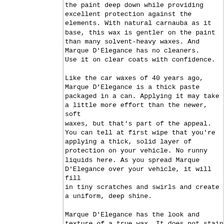the paint deep down while providing excellent protection against the elements. With natural carnauba as it base, this wax is gentler on the paint than many solvent-heavy waxes. And Marque D'Elegance has no cleaners. Use it on clear coats with confidence.
Like the car waxes of 40 years ago, Marque D'Elegance is a thick paste packaged in a can. Applying it may take a little more effort than the newer, soft waxes, but that's part of the appeal. You can tell at first wipe that you're applying a thick, solid layer of protection on your vehicle. No runny liquids here. As you spread Marque D'Elegance over your vehicle, it will fill in tiny scratches and swirls and create a uniform, deep shine.
Marque D'Elegance has the look and texture of a true wax. It does not stain trim or molding. The finish it leaves...